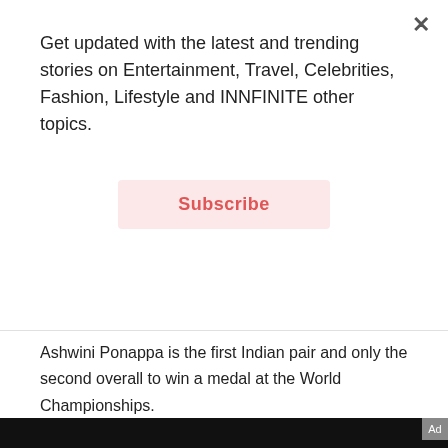Get updated with the latest and trending stories on Entertainment, Travel, Celebrities, Fashion, Lifestyle and INNFINITE other topics.
Subscribe
Ashwini Ponappa is the first Indian pair and only the second overall to win a medal at the World Championships.
B. Sai Praneeth
[Figure (screenshot): Close ad bar and Google Maps ad for Walgreens Photo showing Health & Safety Essentials with a map view and Store info / Directions buttons]